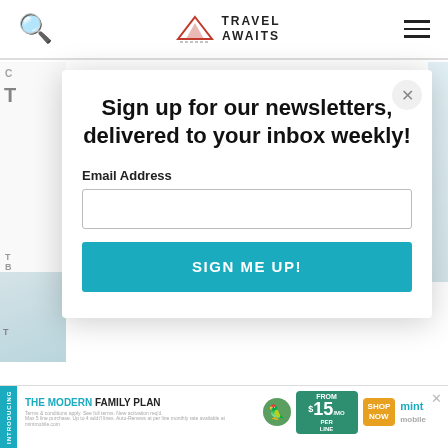[Figure (logo): Travel Awaits logo with mountain/triangle icon and text]
Sign up for our newsletters, delivered to your inbox weekly!
Email Address
SIGN ME UP!
[Figure (infographic): Mint Mobile ad banner: THE MODERN FAMILY PLAN FROM $15/MO PER LINE SHOP NOW]